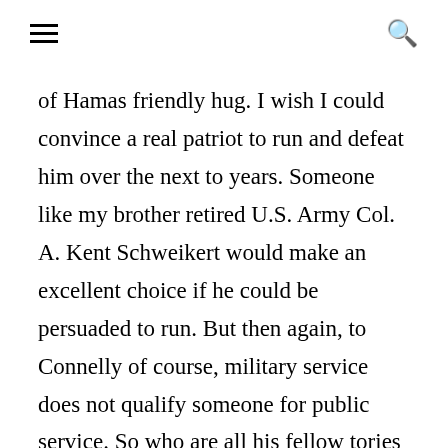≡  🔍
of Hamas friendly hug. I wish I could convince a real patriot to run and defeat him over the next to years. Someone like my brother retired U.S. Army Col. A. Kent Schweikert would make an excellent choice if he could be persuaded to run. But then again, to Connelly of course, military service does not qualify someone for public service. So who are all his fellow tories in this